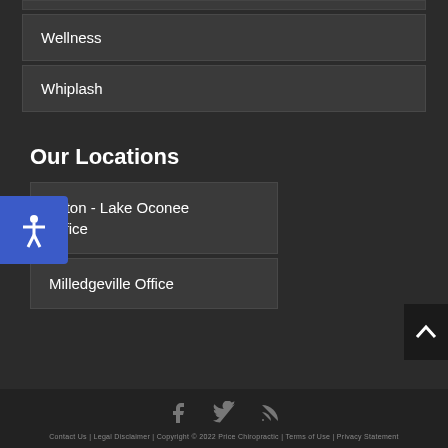Wellness
Whiplash
Our Locations
onton - Lake Oconee Office
Milledgeville Office
Contact Us | Legal Disclaimer | Copyright © 2022 Price Chiropractic | Terms of Use | Privacy Statement